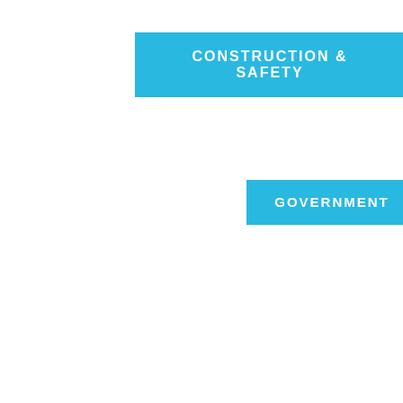CONSTRUCTION & SAFETY
GOVERNMENT
< BACK TO NEWS & EVENTS